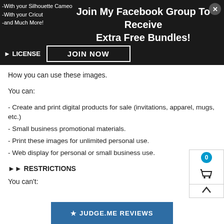-With your Silhouette Cameo
-With your Cricut
-and Much More!
Join My Facebook Group To Receive Extra Free Bundles!
► LICENSE
JOIN NOW
How you can use these images.
You can:
- Create and print digital products for sale (invitations, apparel, mugs, etc.)
- Small business promotional materials.
- Print these images for unlimited personal use.
- Web display for personal or small business use.
►► RESTRICTIONS
You can't:
★ JUDGE.ME REVIEWS